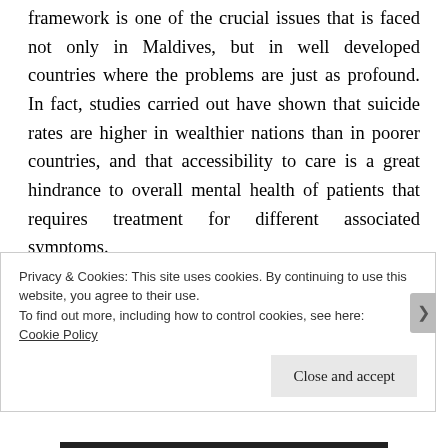framework is one of the crucial issues that is faced not only in Maldives, but in well developed countries where the problems are just as profound. In fact, studies carried out have shown that suicide rates are higher in wealthier nations than in poorer countries, and that accessibility to care is a great hindrance to overall mental health of patients that requires treatment for different associated symptoms.

The patient to doctor ratio is crucial when it comes to mental health treatment and the notion that
Privacy & Cookies: This site uses cookies. By continuing to use this website, you agree to their use.
To find out more, including how to control cookies, see here: Cookie Policy
Close and accept